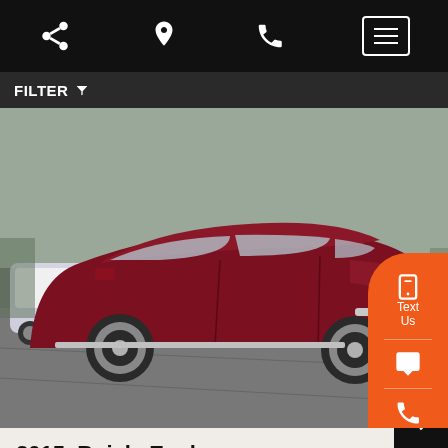Navigation bar with share, location, phone, and menu icons
FILTER
[Figure (photo): Dark maroon/red 2015 Buick Enclave AWD SUV parked in a dealership lot, front three-quarter view. White BMW visible in background on left, dark SUV on right. Orange contact sidebar on right side with Text Us, chat, phone, and Trade-in buttons.]
2015 Buick Enclave AWD 4dr Premium
130,368 miles
$19,995  $17,980